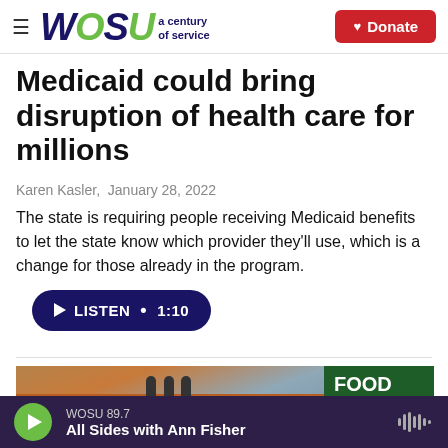WOSU a century of service | Donate
Medicaid could bring disruption of health care for millions
Karen Kasler,  January 28, 2022
The state is requiring people receiving Medicaid benefits to let the state know which provider they'll use, which is a change for those already in the program.
[Figure (screenshot): Listen button with play icon showing duration 1:10]
[Figure (photo): Interior building photo showing a balcony with people and a food bank sign reading FOOD RIGHT TIME RIGHT PLACE with a foodbank logo]
WOSU 89.7  All Sides with Ann Fisher